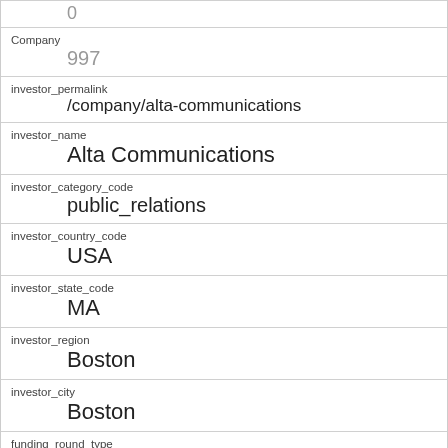0
Company
997
investor_permalink
/company/alta-communications
investor_name
Alta Communications
investor_category_code
public_relations
investor_country_code
USA
investor_state_code
MA
investor_region
Boston
investor_city
Boston
funding_round_type
series-a
funded_at
1233446400